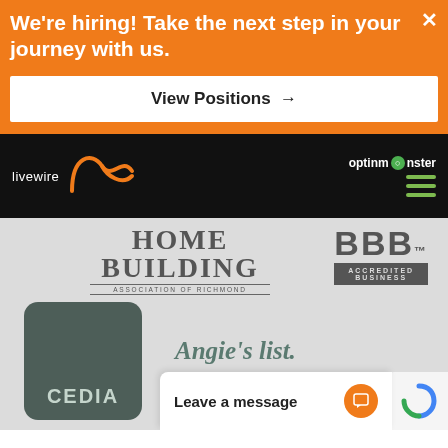We're hiring! Take the next step in your journey with us.
View Positions →
[Figure (logo): Livewire logo with orange swirl on black navbar, optinmonster branding top right, green hamburger menu]
[Figure (logo): HOME BUILDING Association of Richmond logo in gray]
[Figure (logo): BBB Accredited Business logo in gray]
[Figure (logo): CEDIA logo in dark teal rounded rectangle]
[Figure (logo): Angie's list logo in teal italic text]
Leave a message